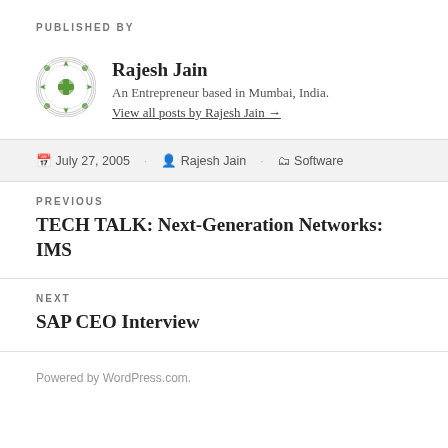PUBLISHED BY
Rajesh Jain
An Entrepreneur based in Mumbai, India.
View all posts by Rajesh Jain →
July 27, 2005   Rajesh Jain   Software
PREVIOUS
TECH TALK: Next-Generation Networks: IMS
NEXT
SAP CEO Interview
Powered by WordPress.com.